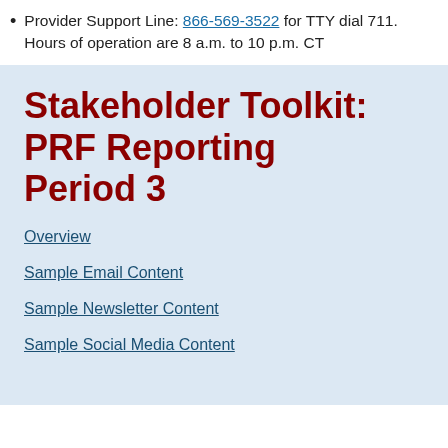Provider Support Line: 866-569-3522 for TTY dial 711. Hours of operation are 8 a.m. to 10 p.m. CT
Stakeholder Toolkit: PRF Reporting Period 3
Overview
Sample Email Content
Sample Newsletter Content
Sample Social Media Content